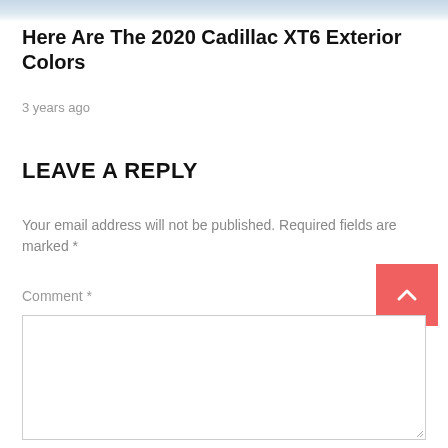[Figure (photo): Top strip showing partial image of a car (Cadillac XT6)]
Here Are The 2020 Cadillac XT6 Exterior Colors
3 years ago
LEAVE A REPLY
Your email address will not be published. Required fields are marked *
Comment *